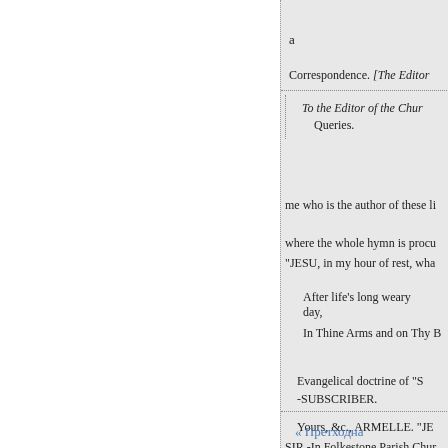a
Correspondence. [The Editor
To the Editor of the Chur Queries.
me who is the author of these li
where the whole hymn is procu
“JESU, in my hour of rest, wha
After life’s long weary day,
In Thine Arms and on Thy B
Evangelical doctrine of “S
-SUBSCRIBER.
Yours, &c., ARMELLE. "JE
SIR,-In Folkestone Parish Chur
SINGULAR EPITAPH.
« Претходна